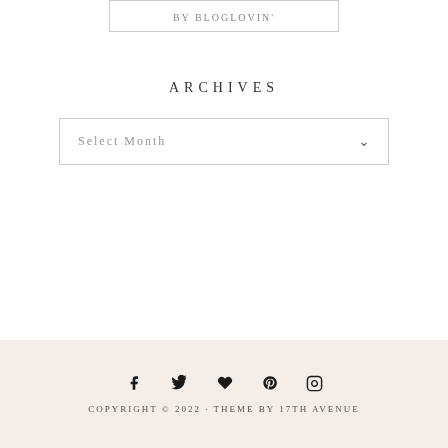BY BLOGLOVIN'
ARCHIVES
Select Month
COPYRIGHT © 2022 · THEME BY 17TH AVENUE